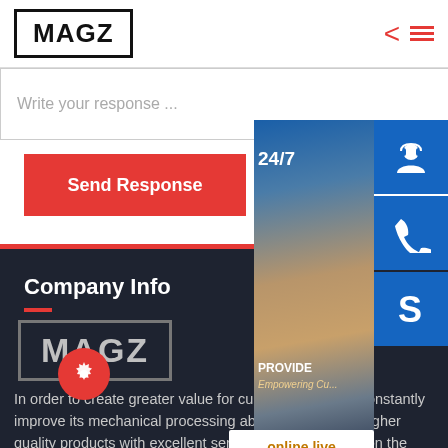[Figure (logo): MAGZ logo in black border box, top navigation bar with red chevron and hamburger menu icons]
Write your response ...
Send Response
[Figure (photo): Customer support representative with headset, showing 24/7 support widget with headset icon, phone icon, Skype icon, and online live button]
Company Info
[Figure (logo): MAGZ logo in dark theme with gray border]
In order to create greater value for customers, we will constantly improve its mechanical processing ability and provide higher quality products with excellent services.We are always on the